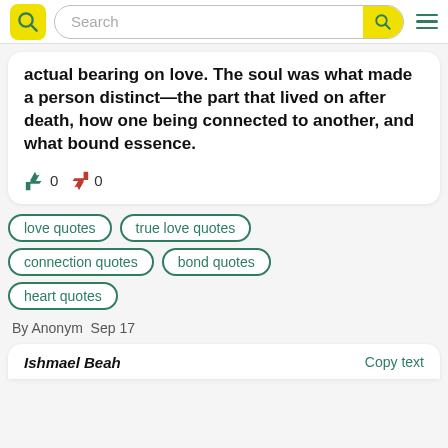Search
actual bearing on love. The soul was what made a person distinct—the part that lived on after death, how one being connected to another, and what bound essence.
0 0
love quotes
true love quotes
connection quotes
bond quotes
heart quotes
By Anonym  Sep 17
Ishmael Beah  Copy text